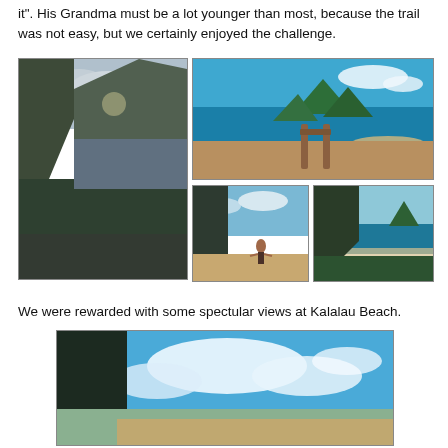it". His Grandma must be a lot younger than most, because the trail was not easy, but we certainly enjoyed the challenge.
[Figure (photo): Dramatic coastal cliffs with lush green vegetation and ocean view below, Na Pali Coast style landscape]
[Figure (photo): Aerial coastal view with blue ocean, sandy beach, green trees and wooden trail marker posts in foreground]
[Figure (photo): Person standing on sandy beach with arms outstretched, cliffs in background]
[Figure (photo): Coastal cliff view with ocean and vegetation, aerial lookout perspective]
We were rewarded with some spectular views at Kalalau Beach.
[Figure (photo): Wide landscape view of Kalalau Beach with blue sky, dramatic clouds, and dark cliffs]